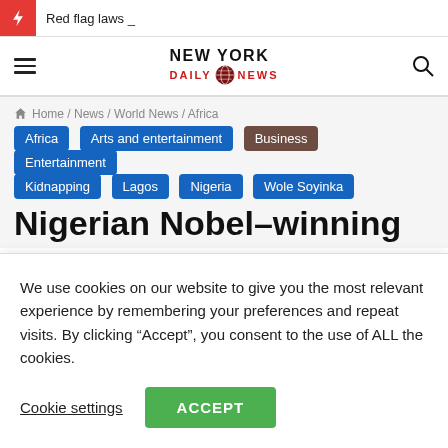Red flag laws _
[Figure (logo): New York Daily News logo with globe icon]
Home / News / World News / Africa
Africa
Arts and entertainment
Business
Entertainment
Kidnapping
Lagos
Nigeria
Wole Soyinka
Nigerian Nobel-winning
We use cookies on our website to give you the most relevant experience by remembering your preferences and repeat visits. By clicking “Accept”, you consent to the use of ALL the cookies.
Cookie settings  ACCEPT